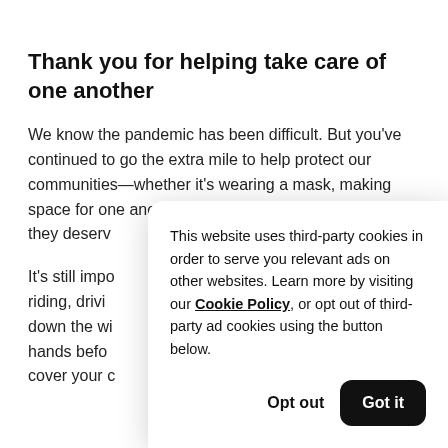Thank you for helping take care of one another
We know the pandemic has been difficult. But you've continued to go the extra mile to help protect our communities—whether it's wearing a mask, making space for one another, or giving drivers the respect they deserv…
It's still impo… riding, drivi… down the wi… hands befo… cover your c…
This website uses third-party cookies in order to serve you relevant ads on other websites. Learn more by visiting our Cookie Policy, or opt out of third-party ad cookies using the button below.